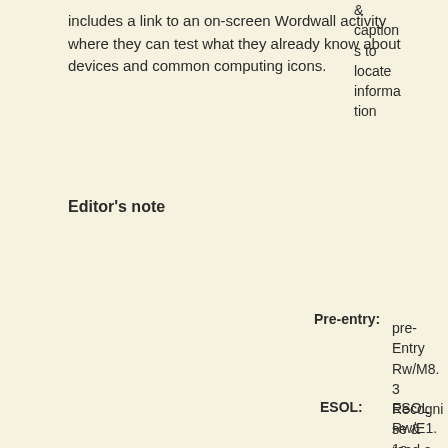includes a link to an on-screen Wordwall activity where they can test what they already know about devices and common computing icons.
& captions to locate information
Editor's note
Pre-entry: pre-Entry Rw/M8.3 Recognise & read a growing no. of words signs symbols
ESOL: ESOL Rw/E1.1a Recogni